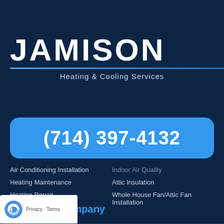JAMISON
Heating & Cooling Services
(714) 397-4132
Air Conditioning Installation
Heating Maintenance
Heating Repair
Indoor Air Quality
Attic Insulation
Whole House Fan/Attic Fan Installation
About the Company
About Us
Our Work
Reviews
Privacy · Terms